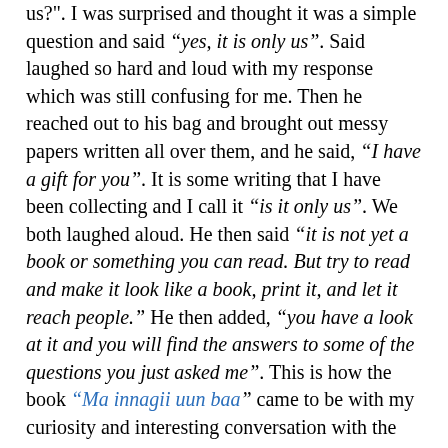us?". I was surprised and thought it was a simple question and said “yes, it is only us". Said laughed so hard and loud with my response which was still confusing for me. Then he reached out to his bag and brought out messy papers written all over them, and he said, “I have a gift for you". It is some writing that I have been collecting and I call it “is it only us". We both laughed aloud. He then said “it is not yet a book or something you can read. But try to read and make it look like a book, print it, and let it reach people.” He then added, “you have a look at it and you will find the answers to some of the questions you just asked me". This is how the book “Ma innagii uun baa” came to be with my curiosity and interesting conversation with the great storyteller.